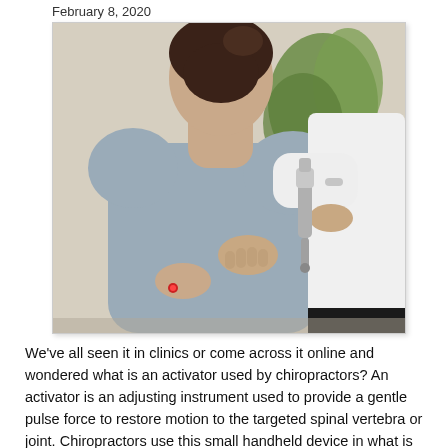February 8, 2020
[Figure (photo): A chiropractor in a white coat using an activator instrument on the upper back/shoulder of a patient in a grey top, viewed from behind. The practitioner holds the device with one hand and steadies the patient with the other hand placed on their back. The patient has dark hair pulled back. Green plant visible in background.]
We've all seen it in clinics or come across it online and wondered what is an activator used by chiropractors? An activator is an adjusting instrument used to provide a gentle pulse force to restore motion to the targeted spinal vertebra or joint. Chiropractors use this small handheld device in what is referred to as the Activator